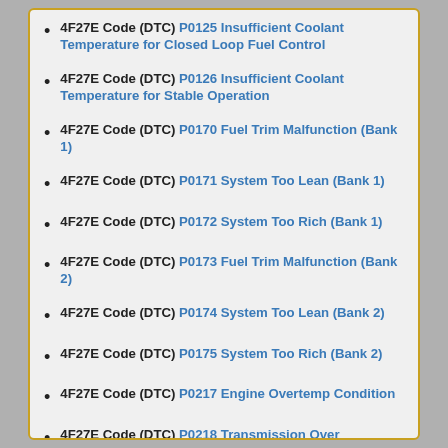4F27E Code (DTC) P0125 Insufficient Coolant Temperature for Closed Loop Fuel Control
4F27E Code (DTC) P0126 Insufficient Coolant Temperature for Stable Operation
4F27E Code (DTC) P0170 Fuel Trim Malfunction (Bank 1)
4F27E Code (DTC) P0171 System Too Lean (Bank 1)
4F27E Code (DTC) P0172 System Too Rich (Bank 1)
4F27E Code (DTC) P0173 Fuel Trim Malfunction (Bank 2)
4F27E Code (DTC) P0174 System Too Lean (Bank 2)
4F27E Code (DTC) P0175 System Too Rich (Bank 2)
4F27E Code (DTC) P0217 Engine Overtemp Condition
4F27E Code (DTC) P0218 Transmission Over Temperature Condition